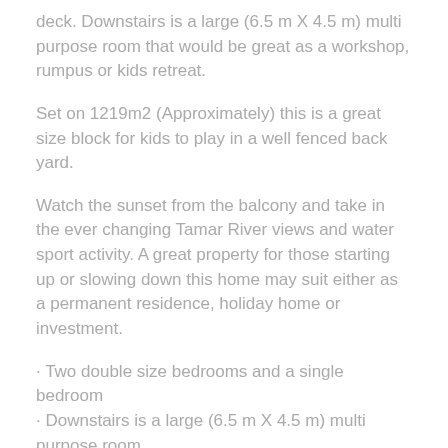deck. Downstairs is a large (6.5 m X 4.5 m) multi purpose room that would be great as a workshop, rumpus or kids retreat.
Set on 1219m2 (Approximately) this is a great size block for kids to play in a well fenced back yard.
Watch the sunset from the balcony and take in the ever changing Tamar River views and water sport activity. A great property for those starting up or slowing down this home may suit either as a permanent residence, holiday home or investment.
· Two double size bedrooms and a single bedroom
· Downstairs is a large (6.5 m X 4.5 m) multi purpose room
· large entertaining deck for the best views
· Set on 1219m2 block (Approximately)